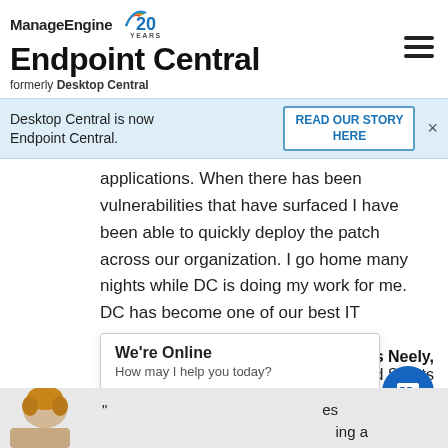ManageEngine Endpoint Central formerly Desktop Central
Desktop Central is now Endpoint Central.
READ OUR STORY HERE
applications. When there has been vulnerabilities that have surfaced I have been able to quickly deploy the patch across our organization. I go home many nights while DC is doing my work for me. DC has become one of our best IT employee! "
Les Neely, Upward Sports
We're Online How may I help you today?
[Figure (photo): Partial view of a person's head at bottom left]